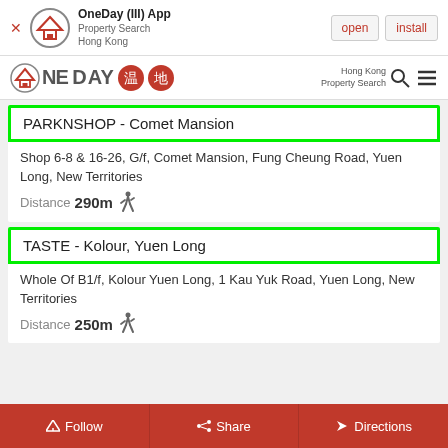[Figure (screenshot): OneDay App promotional banner with logo, open and install buttons]
[Figure (logo): OneDay property search Hong Kong navigation bar with logo and search/menu icons]
PARKNSHOP - Comet Mansion
Shop 6-8 & 16-26, G/f, Comet Mansion, Fung Cheung Road, Yuen Long, New Territories
Distance 290m
TASTE - Kolour, Yuen Long
Whole Of B1/f, Kolour Yuen Long, 1 Kau Yuk Road, Yuen Long, New Territories
Distance 250m
Follow   Share   Directions